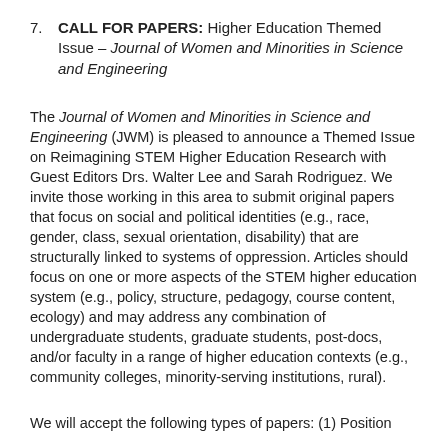7. CALL FOR PAPERS: Higher Education Themed Issue – Journal of Women and Minorities in Science and Engineering
The Journal of Women and Minorities in Science and Engineering (JWM) is pleased to announce a Themed Issue on Reimagining STEM Higher Education Research with Guest Editors Drs. Walter Lee and Sarah Rodriguez. We invite those working in this area to submit original papers that focus on social and political identities (e.g., race, gender, class, sexual orientation, disability) that are structurally linked to systems of oppression. Articles should focus on one or more aspects of the STEM higher education system (e.g., policy, structure, pedagogy, course content, ecology) and may address any combination of undergraduate students, graduate students, post-docs, and/or faculty in a range of higher education contexts (e.g., community colleges, minority-serving institutions, rural).
We will accept the following types of papers: (1) Position